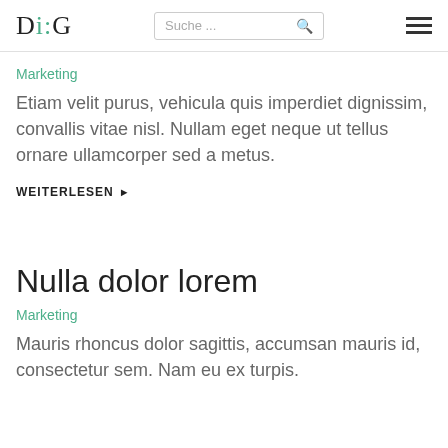DiG | Suche ...
Marketing
Etiam velit purus, vehicula quis imperdiet dignissim, convallis vitae nisl. Nullam eget neque ut tellus ornare ullamcorper sed a metus.
WEITERLESEN ▶
Nulla dolor lorem
Marketing
Mauris rhoncus dolor sagittis, accumsan mauris id, consectetur sem. Nam eu ex turpis.